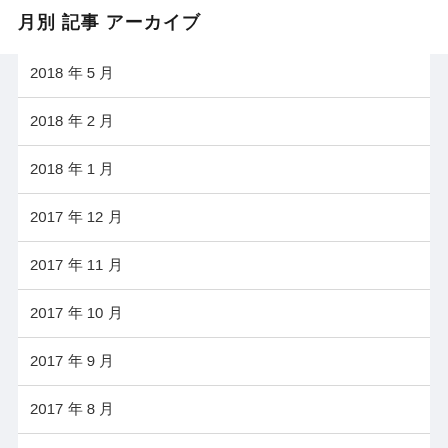月別 記事 アーカイブ
2018 年 5 月
2018 年 2 月
2018 年 1 月
2017 年 12 月
2017 年 11 月
2017 年 10 月
2017 年 9 月
2017 年 8 月
2017 年 7 月
2017 年 6 月
2017 年 5 月